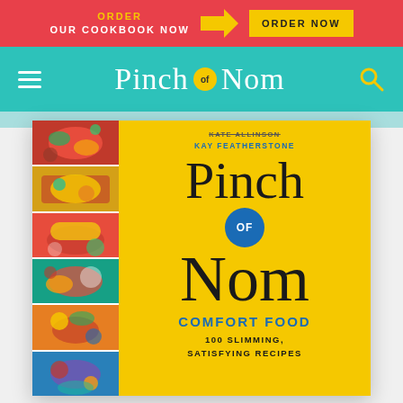ORDER OUR COOKBOOK NOW | ORDER NOW
[Figure (screenshot): Pinch of Nom website screenshot showing navigation bar with hamburger menu, logo, and search icon on teal background]
[Figure (photo): Pinch of Nom Comfort Food cookbook cover showing yellow cover with food photos strip on left, authors Kate Allinson and Kay Featherstone, title Pinch of Nom, subtitle Comfort Food, 100 Slimming, Satisfying Recipes]